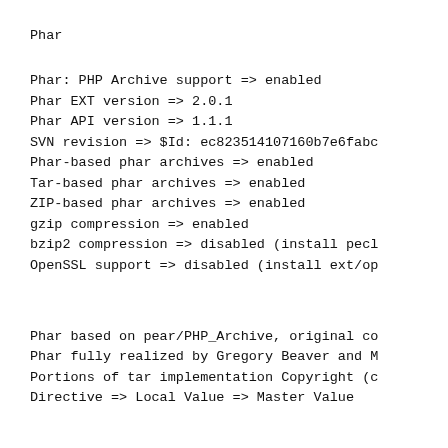Phar
Phar: PHP Archive support => enabled
Phar EXT version => 2.0.1
Phar API version => 1.1.1
SVN revision => $Id: ec823514107160b7e6fabc
Phar-based phar archives => enabled
Tar-based phar archives => enabled
ZIP-based phar archives => enabled
gzip compression => enabled
bzip2 compression => disabled (install pecl
OpenSSL support => disabled (install ext/op
Phar based on pear/PHP_Archive, original co
Phar fully realized by Gregory Beaver and M
Portions of tar implementation Copyright (c
Directive => Local Value => Master Value